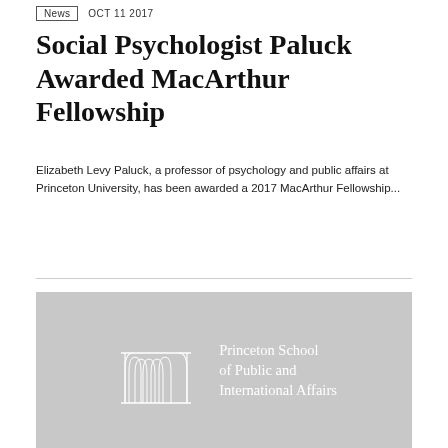News | OCT 11 2017
Social Psychologist Paluck Awarded MacArthur Fellowship
Elizabeth Levy Paluck, a professor of psychology and public affairs at Princeton University, has been awarded a 2017 MacArthur Fellowship...
[Figure (logo): Princeton School of Public and International Affairs logo with arch columns on grey background]